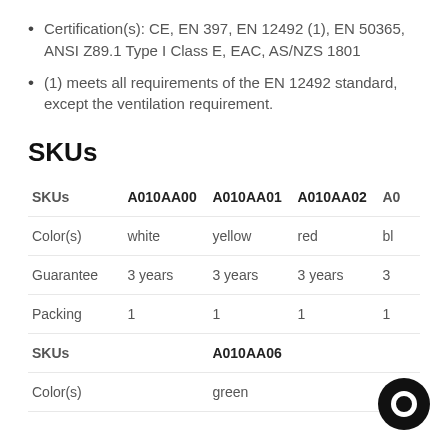Certification(s): CE, EN 397, EN 12492 (1), EN 50365, ANSI Z89.1 Type I Class E, EAC, AS/NZS 1801
(1) meets all requirements of the EN 12492 standard, except the ventilation requirement.
SKUs
| SKUs | A010AA00 | A010AA01 | A010AA02 | A0… |
| --- | --- | --- | --- | --- |
| Color(s) | white | yellow | red | bl… |
| Guarantee | 3 years | 3 years | 3 years | 3 |
| Packing | 1 | 1 | 1 | 1 |
| SKUs |  | A010AA06 |  |  |
| Color(s) |  | green |  |  |